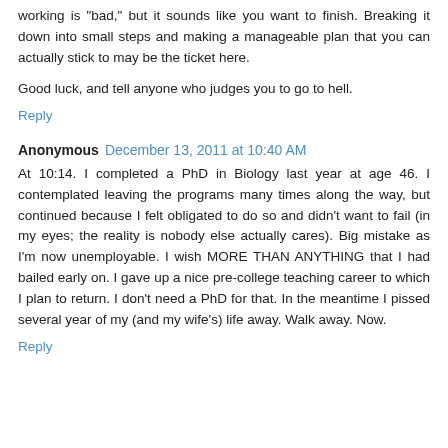working is "bad," but it sounds like you want to finish. Breaking it down into small steps and making a manageable plan that you can actually stick to may be the ticket here.
Good luck, and tell anyone who judges you to go to hell.
Reply
Anonymous December 13, 2011 at 10:40 AM
At 10:14. I completed a PhD in Biology last year at age 46. I contemplated leaving the programs many times along the way, but continued because I felt obligated to do so and didn't want to fail (in my eyes; the reality is nobody else actually cares). Big mistake as I'm now unemployable. I wish MORE THAN ANYTHING that I had bailed early on. I gave up a nice pre-college teaching career to which I plan to return. I don't need a PhD for that. In the meantime I pissed several year of my (and my wife's) life away. Walk away. Now.
Reply